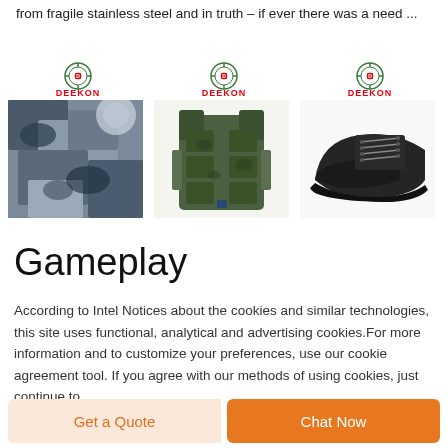from fragile stainless steel and in truth – if ever there was a need ...
[Figure (photo): Three product images with Deekon logos: camouflage fabric/clothing, tactical vest in camouflage pattern, black safety shoe]
Gameplay
According to Intel Notices about the cookies and similar technologies, this site uses functional, analytical and advertising cookies.For more information and to customize your preferences, use our cookie agreement tool. If you agree with our methods of using cookies, just continue to